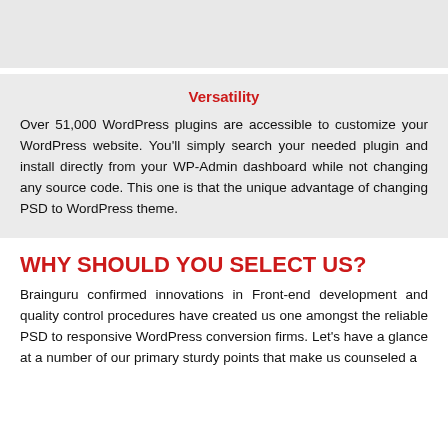Versatility
Over 51,000 WordPress plugins are accessible to customize your WordPress website. You'll simply search your needed plugin and install directly from your WP-Admin dashboard while not changing any source code. This one is that the unique advantage of changing PSD to WordPress theme.
WHY SHOULD YOU SELECT US?
Brainguru confirmed innovations in Front-end development and quality control procedures have created us one amongst the reliable PSD to responsive WordPress conversion firms. Let's have a glance at a number of our primary sturdy points that make us counseled a